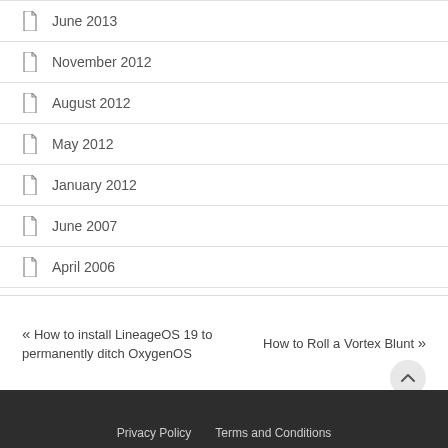June 2013
November 2012
August 2012
May 2012
January 2012
June 2007
April 2006
« How to install LineageOS 19 to permanently ditch OxygenOS
How to Roll a Vortex Blunt »
Privacy Policy   Terms and Conditions